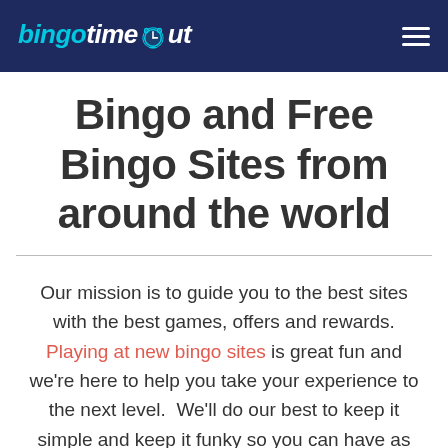bingotimeout
Bingo and Free Bingo Sites from around the world
Our mission is to guide you to the best sites with the best games, offers and rewards. Playing at new bingo sites is great fun and we're here to help you take your experience to the next level.  We'll do our best to keep it simple and keep it funky so you can have as much fun as possible.